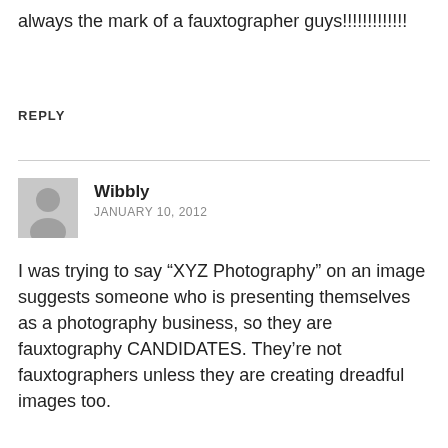always the mark of a fauxtographer guys!!!!!!!!!!!!!
REPLY
Wibbly
JANUARY 10, 2012
I was trying to say “XYZ Photography” on an image suggests someone who is presenting themselves as a photography business, so they are fauxtography CANDIDATES. They’re not fauxtographers unless they are creating dreadful images too.